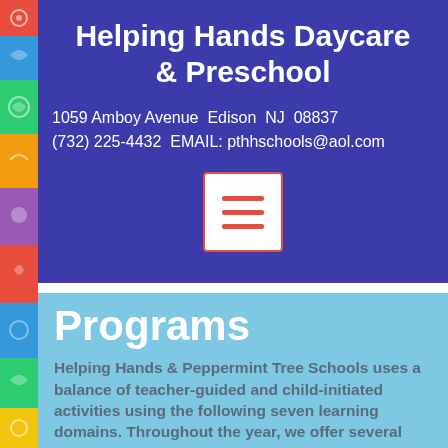Helping Hands Daycare & Preschool
1059 Amboy Avenue  Edison  NJ  08837
(732) 225-4432  EMAIL: pthhschools@aol.com
[Figure (other): Menu/hamburger button icon with three red horizontal bars on white background with red border]
Programs
Helping Hands & Peppermint Tree Schools uses a balance of teacher-guided and child-initiated activities using the following seven learning domains. Throughout the year, we offer several extracurricular